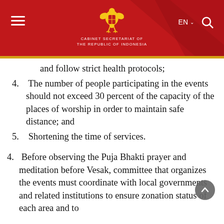CABINET SECRETARIAT OF THE REPUBLIC OF INDONESIA
and follow strict health protocols;
4. The number of people participating in the events should not exceed 30 percent of the capacity of the places of worship in order to maintain safe distance; and
5. Shortening the time of services.
4. Before observing the Puja Bhakti prayer and meditation before Vesak, committee that organizes the events must coordinate with local governments and related institutions to ensure zonation status of each area and to